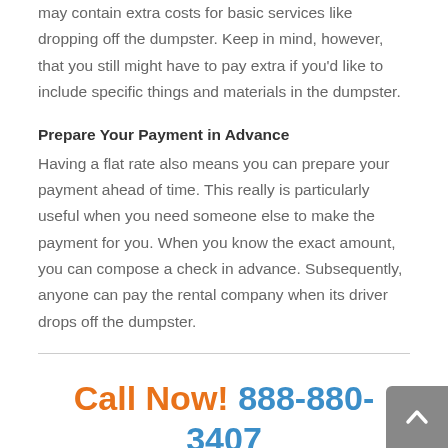may contain extra costs for basic services like dropping off the dumpster. Keep in mind, however, that you still might have to pay extra if you'd like to include specific things and materials in the dumpster.
Prepare Your Payment in Advance
Having a flat rate also means you can prepare your payment ahead of time. This really is particularly useful when you need someone else to make the payment for you. When you know the exact amount, you can compose a check in advance. Subsequently, anyone can pay the rental company when its driver drops off the dumpster.
Call Now! 888-880-3407
How far in advance do I need to